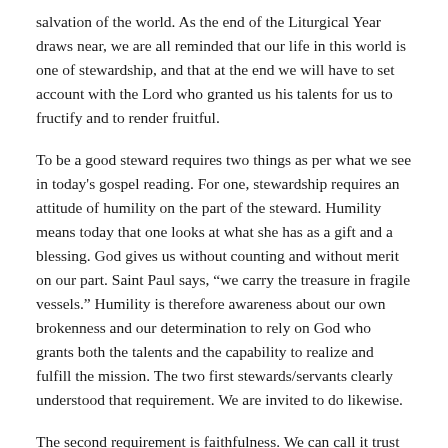salvation of the world. As the end of the Liturgical Year draws near, we are all reminded that our life in this world is one of stewardship, and that at the end we will have to set account with the Lord who granted us his talents for us to fructify and to render fruitful.
To be a good steward requires two things as per what we see in today's gospel reading. For one, stewardship requires an attitude of humility on the part of the steward. Humility means today that one looks at what she has as a gift and a blessing. God gives us without counting and without merit on our part. Saint Paul says, “we carry the treasure in fragile vessels.” Humility is therefore awareness about our own brokenness and our determination to rely on God who grants both the talents and the capability to realize and fulfill the mission. The two first stewards/servants clearly understood that requirement. We are invited to do likewise.
The second requirement is faithfulness. We can call it trust in the Lord and in the capabilities He gives us to fulfill the mission. This is widely displayed in the attitude of the two stewards who took the risk to make fruitful the talents. Faithfulness means therefore our ability to take risk when we embark on God’s adventure no matter how big or small the adventure would seem. The “fearful steward”